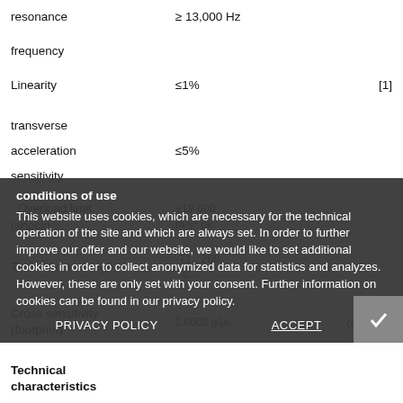| Parameter | Value | Note |
| --- | --- | --- |
| resonance frequency | ≥ 13,000 Hz |  |
| Linearity | ≤1% | [1] |
| transverse acceleration sensitivity | ≤5% |  |
| Overload limit (shock) | ±19.600 m/s² pk |  |
| Temperature range | -71...260 °C |  |
| Cross-sensitivity (footprint) | 0.0002 g/με | 0.002 (m/s²) /μ? [2] |
| Technical characteristics |  |  |
| capacity | 930 pF | [2] |
conditions of use
This website uses cookies, which are necessary for the technical operation of the site and which are always set. In order to further improve our offer and our website, we would like to set additional cookies in order to collect anonymized data for statistics and analyzes. However, these are only set with your consent. Further information on cookies can be found in our privacy policy.
PRIVACY POLICY   ACCEPT